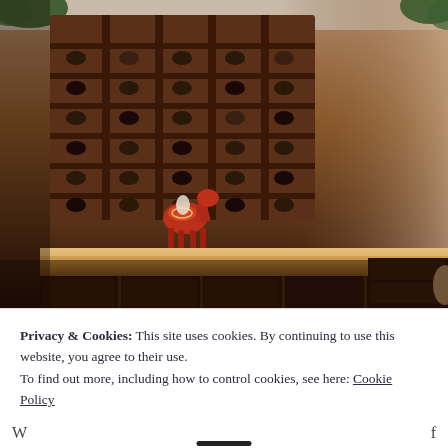[Figure (photo): Interior photo of a restaurant or bar showing a large wooden wine rack filled with bottles along the back wall, a wooden counter/bar surface with a decorative painted horse figurine on top, and ornate dark wooden cabinet panels below. Plants visible at the top edges.]
Privacy & Cookies: This site uses cookies. By continuing to use this website, you agree to their use.
To find out more, including how to control cookies, see here: Cookie Policy
Close and accept